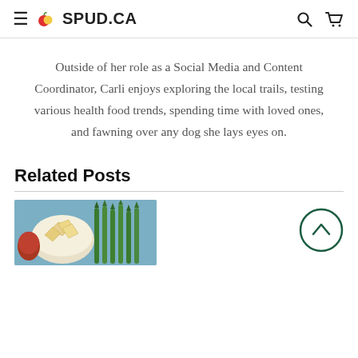≡ 🍎 SPUD.CA
Outside of her role as a Social Media and Content Coordinator, Carli enjoys exploring the local trails, testing various health food trends, spending time with loved ones, and fawning over any dog she lays eyes on.
Related Posts
[Figure (photo): Food photo showing chips in a bowl with salsa and asparagus on a blue background]